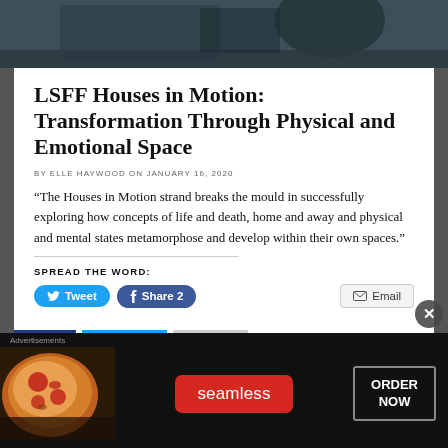[Figure (photo): Dark teal/grey photo background at top of page, appears to be a cropped editorial image]
LSFF Houses in Motion: Transformation Through Physical and Emotional Space
BY ELLE HAYWOOD ON JANUARY 16, 2020
“The Houses in Motion strand breaks the mould in successfully exploring how concepts of life and death, home and away and physical and mental states metamorphose and develop within their own spaces.”
SPREAD THE WORD:
[Figure (screenshot): Social sharing buttons: Tweet, Share 2, Email. Advertisement banner for Seamless with pizza image and ORDER NOW button.]